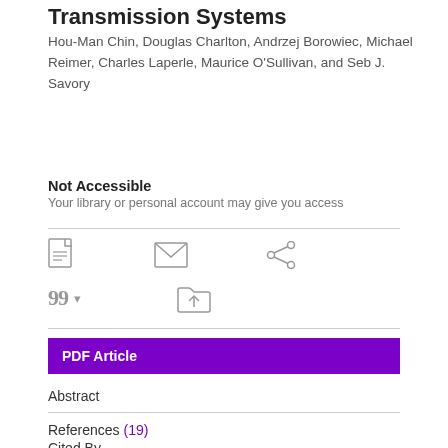Transmission Systems
Hou-Man Chin, Douglas Charlton, Andrzej Borowiec, Michael Reimer, Charles Laperle, Maurice O'Sullivan, and Seb J. Savory
Not Accessible
Your library or personal account may give you access
[Figure (other): Action icons row: PDF icon, email/envelope icon, share icon, cite icon with dropdown, folder/upload icon]
PDF Article
Abstract
References (19)
Cited By